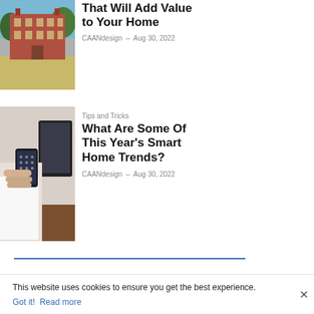[Figure (photo): Photo of a large red brick Georgian manor house with trees in background and open lawn in foreground]
That Will Add Value to Your Home
CAANdesign – Aug 30, 2022
[Figure (photo): Photo of a person holding a smartphone in a living room with a large TV screen in the background]
Tips and Tricks
What Are Some Of This Year's Smart Home Trends?
CAANdesign – Aug 30, 2022
This website uses cookies to ensure you get the best experience.
Got it!  Read more